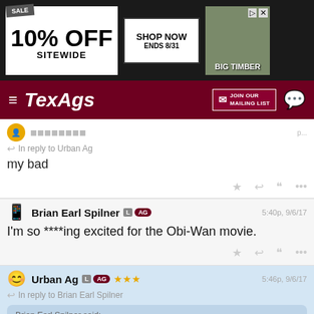[Figure (screenshot): Advertisement banner: SALE 10% OFF SITEWIDE, SHOP NOW ENDS 8/31, BIG TIMBER]
[Figure (screenshot): TexAgs navigation bar with hamburger menu, logo, JOIN OUR MAILING LIST button, and chat icon]
In reply to Urban Ag
my bad
Brian Earl Spilner  L  AG  5:40p, 9/6/17
I'm so ****ing excited for the Obi-Wan movie.
Urban Ag  L  AG  ★★★  5:46p, 9/6/17
In reply to Brian Earl Spilner
Brian Earl Spilner said: I'm so ****ing excited for the Obi-Wan movie.
[Figure (photo): Image placeholder icon (mountain/landscape)]